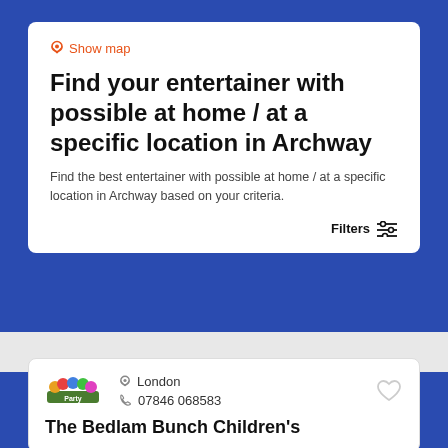Show map
Find your entertainer with possible at home / at a specific location in Archway
Find the best entertainer with possible at home / at a specific location in Archway based on your criteria.
Filters
London
07846 068583
The Bedlam Bunch Children's